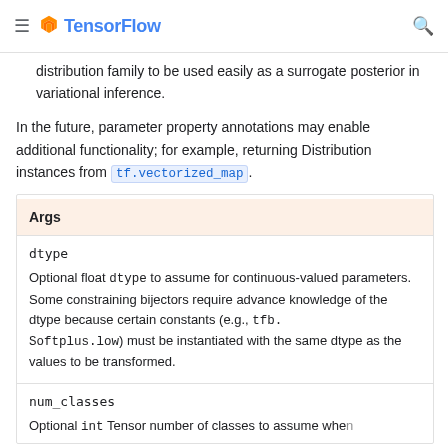TensorFlow
distribution family to be used easily as a surrogate posterior in variational inference.
In the future, parameter property annotations may enable additional functionality; for example, returning Distribution instances from tf.vectorized_map.
| Args |
| --- |
| dtype | Optional float dtype to assume for continuous-valued parameters. Some constraining bijectors require advance knowledge of the dtype because certain constants (e.g., tfb.Softplus.low) must be instantiated with the same dtype as the values to be transformed. |
| num_classes | Optional int Tensor number of classes to assume when... |